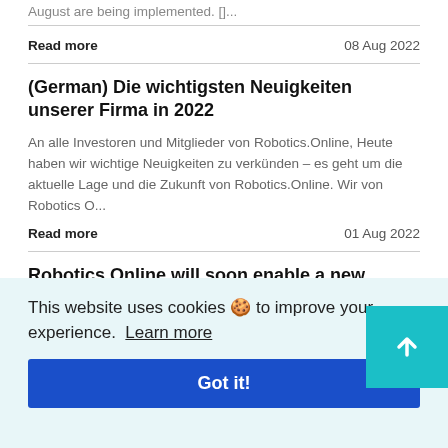August are being implemented. []...
Read more   08 Aug 2022
(German) Die wichtigsten Neuigkeiten unserer Firma in 2022
An alle Investoren und Mitglieder von Robotics.Online, Heute haben wir wichtige Neuigkeiten zu verkünden – es geht um die aktuelle Lage und die Zukunft von Robotics.Online. Wir von Robotics O...
Read more   01 Aug 2022
Robotics.Online will soon enable a new payment method
This website uses cookies 🍪 to improve your experience.  Learn more
Got it!
After much thought and consideration, Robotics.Online